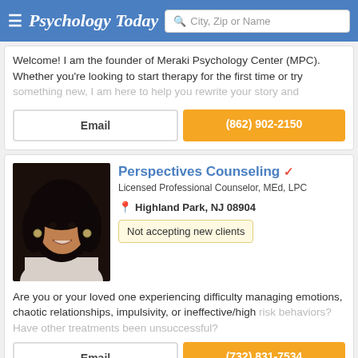Psychology Today | City, Zip or Name
Welcome! I am the founder of Meraki Psychology Center (MPC). Whether you're looking to start therapy for the first time or try something new, I am here to help you rewrite your story and
Email | (862) 902-2150
[Figure (photo): Profile photo of a woman with dark hair, smiling, wearing a white top and hoop earrings, against a dark background.]
Perspectives Counseling
Licensed Professional Counselor, MEd, LPC
Highland Park, NJ 08904
Not accepting new clients
Are you or your loved one experiencing difficulty managing emotions, chaotic relationships, impulsivity, or ineffective/high risk behaviors? Have other treatments been unsuccessful?
Email | (732) 831-7534